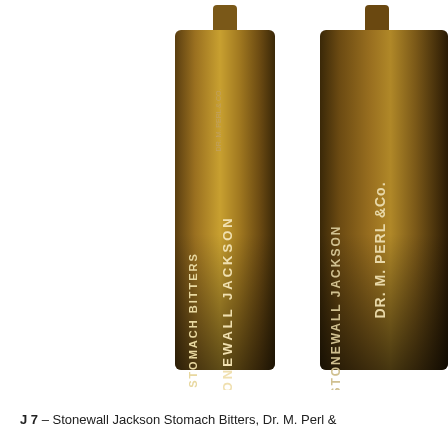[Figure (photo): Two amber glass antique bitters bottles shown side by side against a white background. The left bottle shows embossed text reading 'STOMACH BITTERS' on one face and 'STONEWALL JACKSON' on another face. The right bottle shows 'STONEWALL JACKSON' on one face and 'DR. M. PERL & Co.' on another face. Both bottles are rectangular with chamfered corners and have a dark amber/brown color.]
J 7 – Stonewall Jackson Stomach Bitters, Dr. M. Perl &